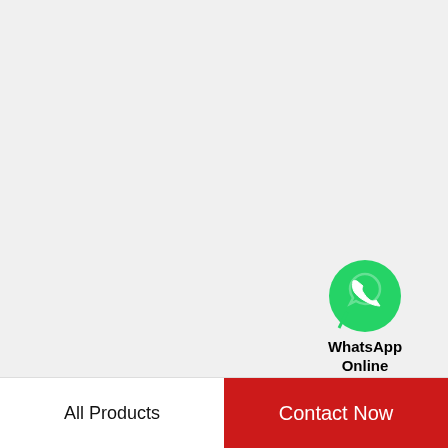[Figure (logo): WhatsApp contact widget: green circular WhatsApp icon with phone handset, labeled 'WhatsApp Online' in bold text below]
Rexroth Mannesmann Manifold Block Solenoid Valve Z1S 6 C2-32/V origin
All Products
Contact Now